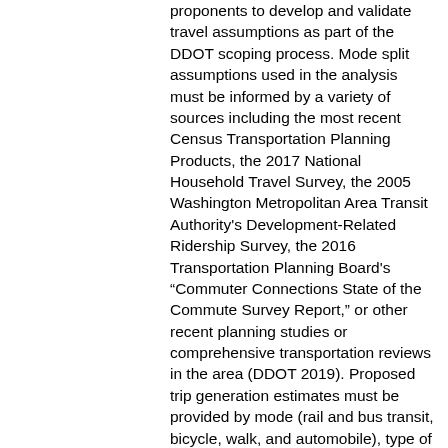proponents to develop and validate travel assumptions as part of the DDOT scoping process. Mode split assumptions used in the analysis must be informed by a variety of sources including the most recent Census Transportation Planning Products, the 2017 National Household Travel Survey, the 2005 Washington Metropolitan Area Transit Authority's Development-Related Ridership Survey, the 2016 Transportation Planning Board's “Commuter Connections State of the Commute Survey Report,” or other recent planning studies or comprehensive transportation reviews in the area (DDOT 2019). Proposed trip generation estimates must be provided by mode (rail and bus transit, bicycle, walk, and automobile), type of trip, land use, and development phase. Existing site trips must be included in the trip generation table and based on actual counts, when possible, and not on estimated trip generation calculations.